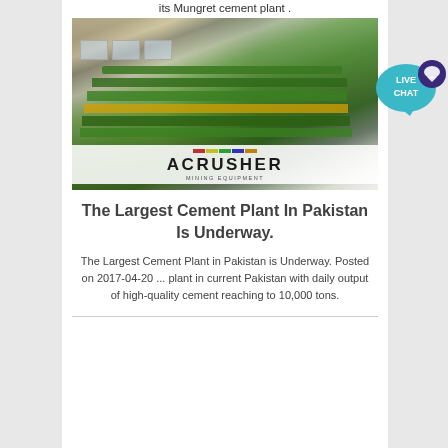its Mungret cement plant .
[Figure (photo): Large green industrial mining/cement machinery (ACRUSHER brand) inside a warehouse/factory, with the ACRUSHER Mining Equipment logo overlaid at the bottom.]
The Largest Cement Plant In Pakistan Is Underway.
The Largest Cement Plant in Pakistan is Underway. Posted on 2017-04-20 ... plant in current Pakistan with daily output of high-quality cement reaching to 10,000 tons.